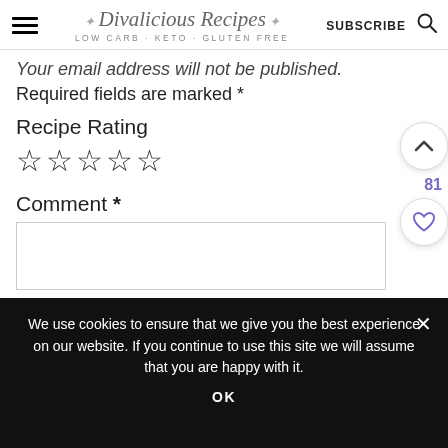Divalicious Recipes LOW CARB · KETO · GLUTEN FREE | SUBSCRIBE
Your email address will not be published.
Required fields are marked *
Recipe Rating
☆☆☆☆☆
Comment *
We use cookies to ensure that we give you the best experience on our website. If you continue to use this site we will assume that you are happy with it.
OK